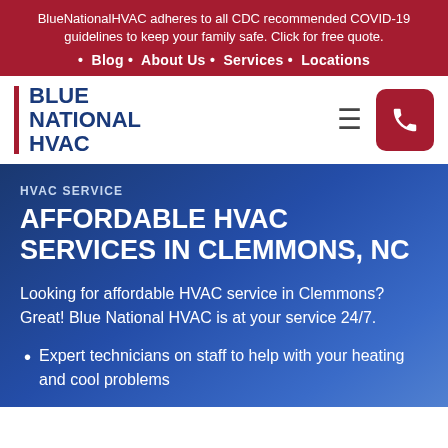BlueNationalHVAC adheres to all CDC recommended COVID-19 guidelines to keep your family safe. Click for free quote.
Blog • About Us • Services • Locations
[Figure (logo): Blue National HVAC logo with red vertical bar and blue bold text]
HVAC SERVICE
AFFORDABLE HVAC SERVICES IN CLEMMONS, NC
Looking for affordable HVAC service in Clemmons? Great! Blue National HVAC is at your service 24/7.
Expert technicians on staff to help with your heating and cool problems